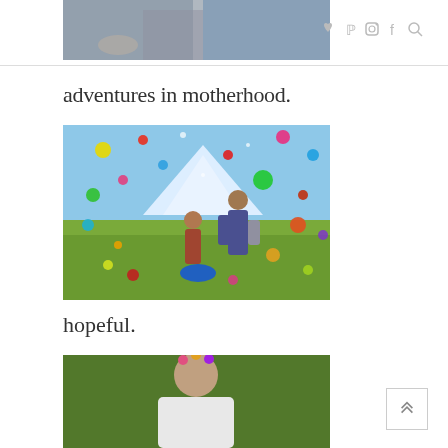[Figure (photo): Partially cropped photo of people sitting, shown from waist down, with gray/blue tones]
[Figure (photo): Social media icons: heart, Pinterest, Instagram, Facebook, search]
adventures in motherhood.
[Figure (photo): Two people (adult and child) on a mountain meadow with colorful confetti/paint dots scattered throughout the image]
hopeful.
[Figure (photo): Person standing outdoors among green foliage, partially visible, cropped at bottom of page]
[Figure (other): Back-to-top button with double chevron up arrow]